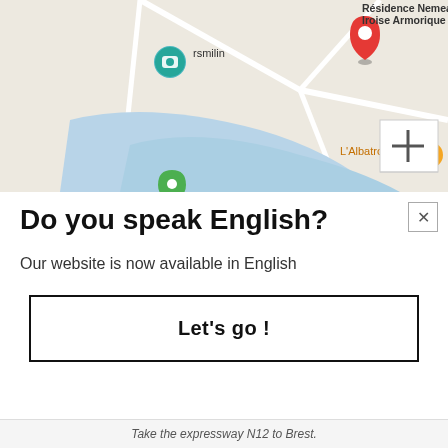[Figure (screenshot): Google Maps screenshot showing coastal area near Brest, France. Visible labels include 'Résidence Nemea Iroise Armorique' with a red pin marker, 'L'Albatros' with an orange restaurant icon, 'rsmilin' with a teal camera icon, and a green location pin. A blue water/sea area is visible. A '+' zoom button is in the bottom right of the map.]
Do you speak English?
Our website is now available in English
Let's go !
Take the expressway N12 to Brest.